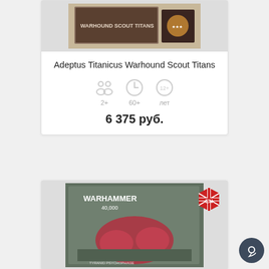[Figure (photo): Product box image for Adeptus Titanicus Warhound Scout Titans (partially cropped at top)]
Adeptus Titanicus Warhound Scout Titans
[Figure (infographic): Icons showing 2+ players, 60+ minutes, 12+ age]
6 375 руб.
[Figure (photo): Product box image for Warhammer 40,000 (second product card, partially visible), with EN language badge]